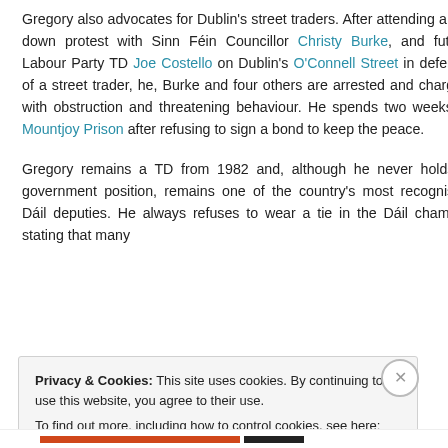Gregory also advocates for Dublin's street traders. After attending a sit-down protest with Sinn Féin Councillor Christy Burke, and future Labour Party TD Joe Costello on Dublin's O'Connell Street in defence of a street trader, he, Burke and four others are arrested and charged with obstruction and threatening behaviour. He spends two weeks in Mountjoy Prison after refusing to sign a bond to keep the peace.
Gregory remains a TD from 1982 and, although he never holds a government position, remains one of the country's most recognised Dáil deputies. He always refuses to wear a tie in the Dáil chamber stating that many
Privacy & Cookies: This site uses cookies. By continuing to use this website, you agree to their use.
To find out more, including how to control cookies, see here: Cookie Policy